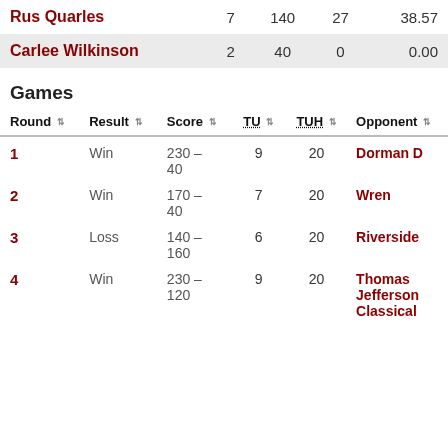| Name |  |  |  |  |
| --- | --- | --- | --- | --- |
| Rus Quarles | 7 | 140 | 27 | 38.57 |
| Carlee Wilkinson | 2 | 40 | 0 | 0.00 |
Games
| Round | Result | Score | TU | TUH | Opponent |
| --- | --- | --- | --- | --- | --- |
| 1 | Win | 230 – 40 | 9 | 20 | Dorman D |
| 2 | Win | 170 – 40 | 7 | 20 | Wren |
| 3 | Loss | 140 – 160 | 6 | 20 | Riverside |
| 4 | Win | 230 – 120 | 9 | 20 | Thomas Jefferson Classical |